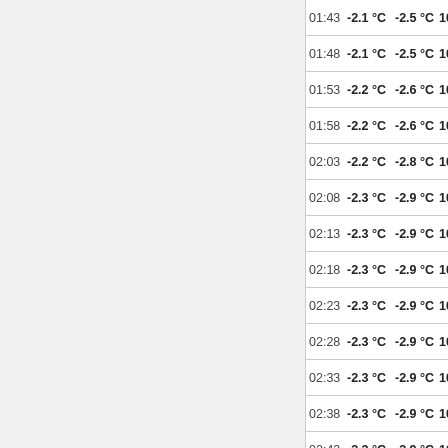| Time | Temp | Dew Point | Pressure | Wind Dir | Wind Speed |
| --- | --- | --- | --- | --- | --- |
| 01:43 | -2.1 °C | -2.5 °C | 1036.2 hPa | Calm |  |
| 01:48 | -2.1 °C | -2.5 °C | 1036.2 hPa | NNW | 1.4 km |
| 01:53 | -2.2 °C | -2.6 °C | 1036.2 hPa | NNW | 3.2 km |
| 01:58 | -2.2 °C | -2.6 °C | 1036.2 hPa | NNE | 1.4 km |
| 02:03 | -2.2 °C | -2.8 °C | 1036.2 hPa | Calm |  |
| 02:08 | -2.3 °C | -2.9 °C | 1036.2 hPa | Calm |  |
| 02:13 | -2.3 °C | -2.9 °C | 1036.2 hPa | Calm |  |
| 02:18 | -2.3 °C | -2.9 °C | 1036.2 hPa | Calm |  |
| 02:23 | -2.3 °C | -2.9 °C | 1036.2 hPa | NW | 3.2 km |
| 02:28 | -2.3 °C | -2.9 °C | 1036.2 hPa | WNW | 4.7 km |
| 02:33 | -2.3 °C | -2.9 °C | 1036.2 hPa | NW | 3.2 km |
| 02:38 | -2.3 °C | -2.9 °C | 1036.2 hPa | Calm |  |
| 02:43 | -2.3 °C | -2.9 °C | 1036.2 hPa | Calm |  |
| 02:48 | -2.4 °C | -3 °C | 1036.2 hPa | Calm |  |